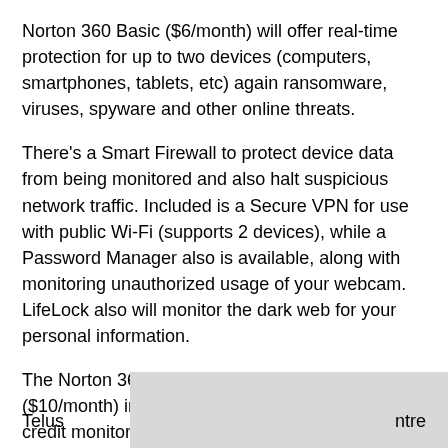Norton 360 Basic ($6/month) will offer real-time protection for up to two devices (computers, smartphones, tablets, etc) again ransomware, viruses, spyware and other online threats.
There's a Smart Firewall to protect device data from being monitored and also halt suspicious network traffic. Included is a Secure VPN for use with public Wi-Fi (supports 2 devices), while a Password Manager also is available, along with monitoring unauthorized usage of your webcam. LifeLock also will monitor the dark web for your personal information.
The Norton 360 with LifeLock Basic Plus ($10/month) includes all of the above, but adds credit monitoring, credit score access, identity reimbursement if you end up becoming a victim of identity fraud, backed by up to $25,000 of coverage for personal expenses [circled-x] lated to ide
Telus ... ntre